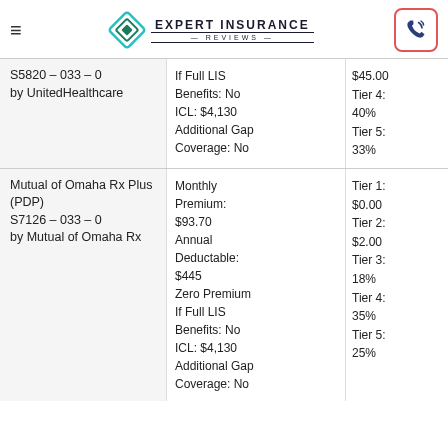Expert Insurance Reviews
| Plan | Details | Tiers |
| --- | --- | --- |
| S5820 – 033 – 0 by UnitedHealthcare | If Full LIS Benefits: No
ICL: $4,130
Additional Gap Coverage: No | $45.00
Tier 4: 40%
Tier 5: 33% |
| Mutual of Omaha Rx Plus (PDP) S7126 – 033 – 0 by Mutual of Omaha Rx | Monthly Premium: $93.70
Annual Deductable: $445
Zero Premium If Full LIS Benefits: No
ICL: $4,130
Additional Gap Coverage: No | Tier 1: $0.00
Tier 2: $2.00
Tier 3: 18%
Tier 4: 35%
Tier 5: 25% |